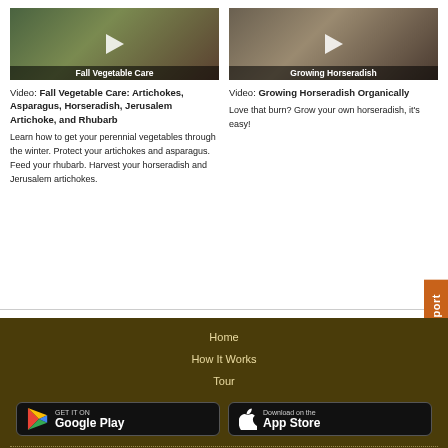[Figure (photo): Video thumbnail showing hands with vegetables - Fall Vegetable Care]
[Figure (photo): Video thumbnail showing horseradish roots - Growing Horseradish]
Video: Fall Vegetable Care: Artichokes, Asparagus, Horseradish, Jerusalem Artichoke, and Rhubarb
Learn how to get your perennial vegetables through the winter. Protect your artichokes and asparagus. Feed your rhubarb. Harvest your horseradish and Jerusalem artichokes.
Video: Growing Horseradish Organically
Love that burn? Grow your own horseradish, it's easy!
Support
Home
How It Works
Tour
[Figure (logo): Google Play store button]
[Figure (logo): Apple App Store button]
Partners